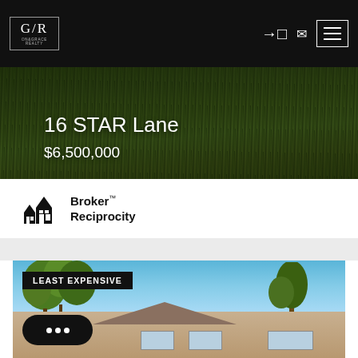[Figure (screenshot): Navigation bar with G/R logo on dark background and hamburger menu icon]
[Figure (photo): Hero image of grass/field background with property address and price overlay]
16 STAR Lane
$6,500,000
[Figure (logo): Broker Reciprocity logo with house icon]
Broker™ Reciprocity
[Figure (photo): Property photo showing house with trees and blue sky, labeled LEAST EXPENSIVE]